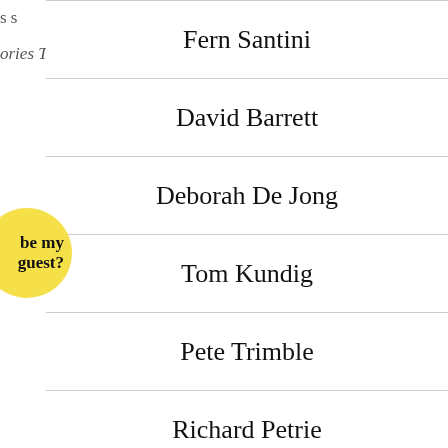Fern Santini
David Barrett
Deborah De Jong
Tom Kundig
Pete Trimble
Richard Petrie
Samantha Wills
Michael Pinkus
Liz Kamruel
Matt Risinger
Davey McEathron